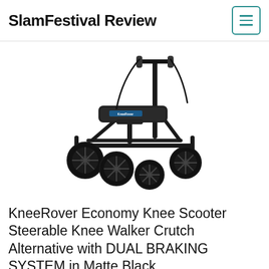SlamFestival Review
[Figure (photo): KneeRover Economy Knee Scooter product photo on white background, showing a 4-wheeled knee scooter/walker in matte black with a padded knee rest platform, adjustable handlebar with brake cables, and 4 large black wheels.]
KneeRover Economy Knee Scooter Steerable Knee Walker Crutch Alternative with DUAL BRAKING SYSTEM in Matte Black